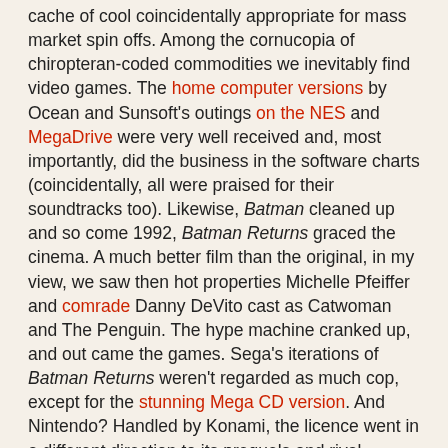cache of cool coincidentally appropriate for mass market spin offs. Among the cornucopia of chiropteran-coded commodities we inevitably find video games. The home computer versions by Ocean and Sunsoft's outings on the NES and MegaDrive were very well received and, most importantly, did the business in the software charts (coincidentally, all were praised for their soundtracks too). Likewise, Batman cleaned up and so come 1992, Batman Returns graced the cinema. A much better film than the original, in my view, we saw then hot properties Michelle Pfeiffer and comrade Danny DeVito cast as Catwoman and The Penguin. The hype machine cranked up, and out came the games. Sega's iterations of Batman Returns weren't regarded as much cop, except for the stunning Mega CD version. And Nintendo? Handled by Konami, the licence went in a different direction to its prequels and rival games. It went all fighty.
Batman Returns on the Super Nintendo owes more to Final Fight and Streets of Rage than anything else. Here you play Batman (like duh) and scroll from left to right dispensing fisticuffs and kicks to an army of clownish goons. You have